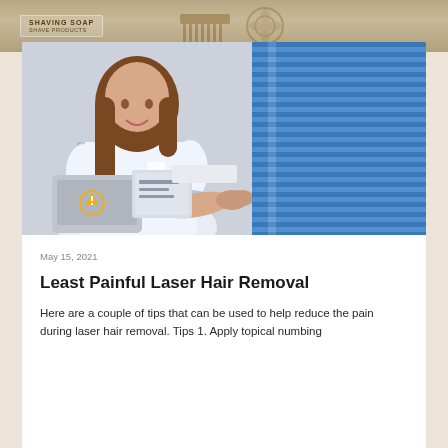[Figure (photo): A woman in a white nurse/technician uniform with blue trim, smiling, standing next to laser hair removal equipment in a clinic room with blue venetian blinds in the background.]
May 15, 2021
Least Painful Laser Hair Removal
Here are a couple of tips that can be used to help reduce the pain during laser hair removal. Tips 1. Apply topical numbing cream. Tips 2. ...